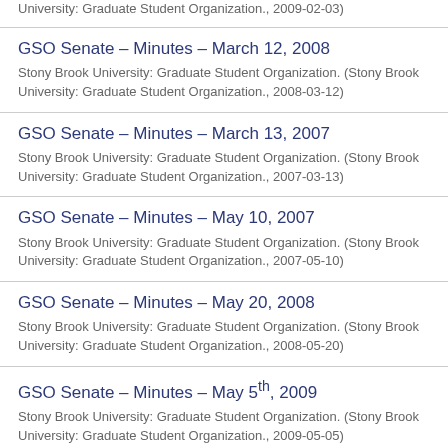University: Graduate Student Organization., 2009-02-03)
GSO Senate – Minutes – March 12, 2008
Stony Brook University: Graduate Student Organization. (Stony Brook University: Graduate Student Organization., 2008-03-12)
GSO Senate – Minutes – March 13, 2007
Stony Brook University: Graduate Student Organization. (Stony Brook University: Graduate Student Organization., 2007-03-13)
GSO Senate – Minutes – May 10, 2007
Stony Brook University: Graduate Student Organization. (Stony Brook University: Graduate Student Organization., 2007-05-10)
GSO Senate – Minutes – May 20, 2008
Stony Brook University: Graduate Student Organization. (Stony Brook University: Graduate Student Organization., 2008-05-20)
GSO Senate – Minutes – May 5th, 2009
Stony Brook University: Graduate Student Organization. (Stony Brook University: Graduate Student Organization., 2009-05-05)
GSO Senate – Minutes – May 6, 2008